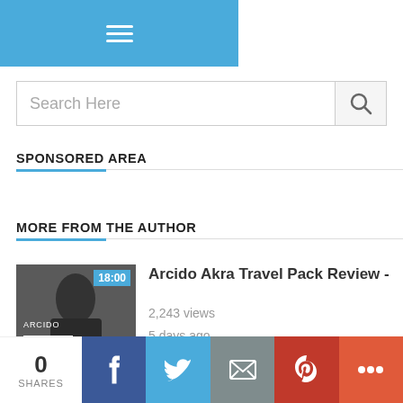Navigation menu header with hamburger icon
Search Here
SPONSORED AREA
MORE FROM THE AUTHOR
[Figure (photo): Thumbnail image of Arcido Akra travel pack with 18:00 duration badge]
Arcido Akra Travel Pack Review -
2,243 views
5 days ago
0 SHARES | Facebook | Twitter | Email | Pinterest | More